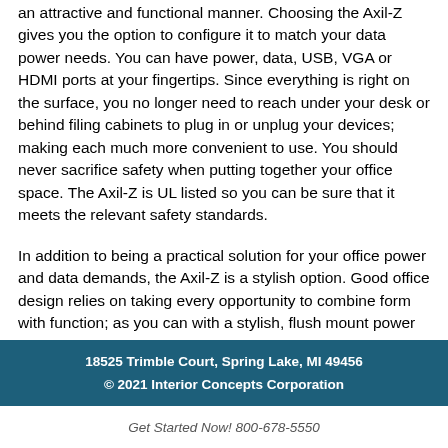an attractive and functional manner. Choosing the Axil-Z gives you the option to configure it to match your data power needs. You can have power, data, USB, VGA or HDMI ports at your fingertips. Since everything is right on the surface, you no longer need to reach under your desk or behind filing cabinets to plug in or unplug your devices; making each much more convenient to use. You should never sacrifice safety when putting together your office space. The Axil-Z is UL listed so you can be sure that it meets the relevant safety standards.
In addition to being a practical solution for your office power and data demands, the Axil-Z is a stylish option. Good office design relies on taking every opportunity to combine form with function; as you can with a stylish, flush mount power and data center.
18525 Trimble Court, Spring Lake, MI 49456
© 2021 Interior Concepts Corporation
Get Started Now! 800-678-5550